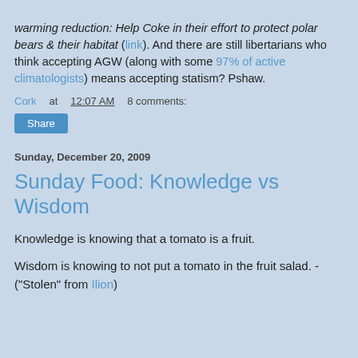warming reduction: Help Coke in their effort to protect polar bears & their habitat (link). And there are still libertarians who think accepting AGW (along with some 97% of active climatologists) means accepting statism? Pshaw.
Cork at 12:07 AM    8 comments:
Share
Sunday, December 20, 2009
Sunday Food: Knowledge vs Wisdom
Knowledge is knowing that a tomato is a fruit.
Wisdom is knowing to not put a tomato in the fruit salad. - ("Stolen" from Ilion)